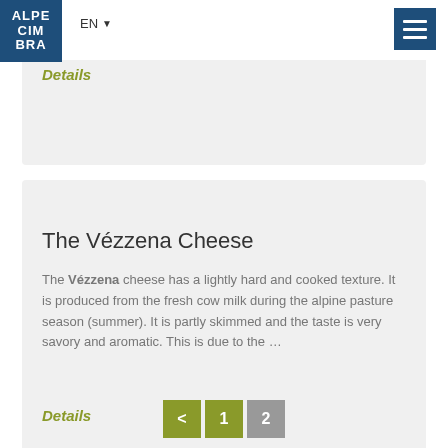Alpe Cimbra | EN
Details
The Vézzena Cheese
The Vézzena cheese has a lightly hard and cooked texture. It is produced from the fresh cow milk during the alpine pasture season (summer). It is partly skimmed and the taste is very savory and aromatic. This is due to the ...
Details
< 1 2